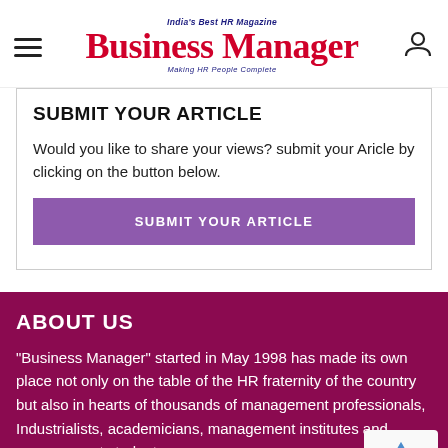India's Best HR Magazine | Business Manager | Making HR People Complete
SUBMIT YOUR ARTICLE
Would you like to share your views? submit your Aricle by clicking on the button below.
SUBMIT YOUR ARTICLE
ABOUT US
"Business Manager" started in May 1998 has made its own place not only on the table of the HR fraternity of the country but also in hearts of thousands of management professionals, Industrialists, academicians, management institutes and management students.